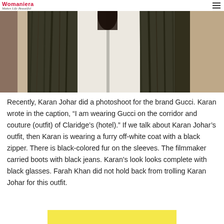Womaniera Makes Life Beautiful
[Figure (photo): Close-up photo of a person wearing a furry off-white coat with black fur details on sleeves, standing in a corridor. The image is cropped showing mainly the coat.]
Recently, Karan Johar did a photoshoot for the brand Gucci. Karan wrote in the caption, “I am wearing Gucci on the corridor and couture (outfit) of Claridge’s (hotel).” If we talk about Karan Johar’s outfit, then Karan is wearing a furry off-white coat with a black zipper. There is black-colored fur on the sleeves. The filmmaker carried boots with black jeans. Karan’s look looks complete with black glasses. Farah Khan did not hold back from trolling Karan Johar for this outfit.